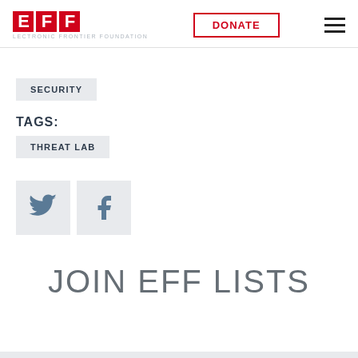EFF - ELECTRONIC FRONTIER FOUNDATION | DONATE
SECURITY
TAGS:
THREAT LAB
[Figure (other): Twitter and Facebook social share buttons]
JOIN EFF LISTS